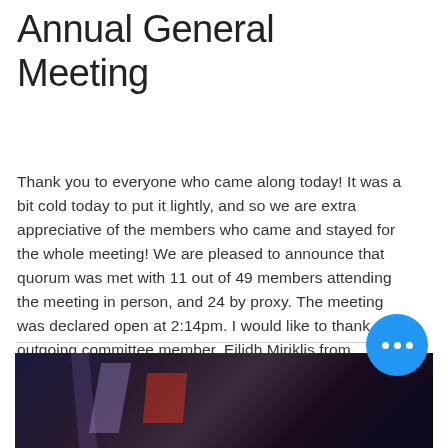Annual General Meeting
Thank you to everyone who came along today! It was a bit cold today to put it lightly, and so we are extra appreciative of the members who came and stayed for the whole meeting! We are pleased to announce that quorum was met with 11 out of 49 members attending the meeting in person, and 24 by proxy. The meeting was declared open at 2:14pm. I would like to thank our outgoing committee member, Eilidh Miriklis from stepping down as Vice President over the last 2 years, and Rache
[Figure (photo): Dark photo of a meeting or event scene with purple/blue tones and red accent lighting]